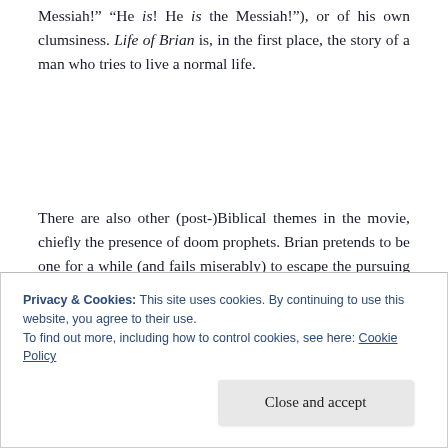Messiah!" "He is! He is the Messiah!"), or of his own clumsiness. Life of Brian is, in the first place, the story of a man who tries to live a normal life.
There are also other (post-)Biblical themes in the movie, chiefly the presence of doom prophets. Brian pretends to be one for a while (and fails miserably) to escape the pursuing Romans, and he also makes a desert father break his 18-year vow of silence.
Privacy & Cookies: This site uses cookies. By continuing to use this website, you agree to their use.
To find out more, including how to control cookies, see here: Cookie Policy